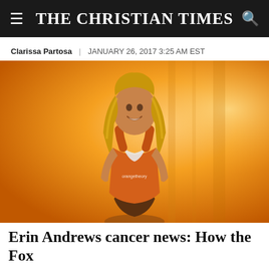THE CHRISTIAN TIMES
Clarissa Partosa | JANUARY 26, 2017 3:25 AM EST
[Figure (photo): Woman with long blonde hair wearing an orange Orangetheory Fitness tank top, posed against an orange background]
Erin Andrews cancer news: How the Fox